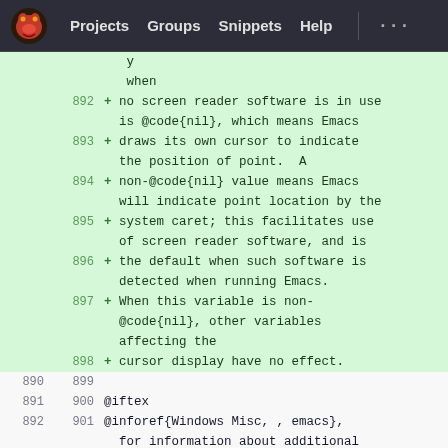Projects  Groups  Snippets  Help  ...
Diff view showing lines 892-901 of a source file. Added lines (green background) show documentation about cursor display behavior, @code{nil} values, screen reader software, and system caret. Neutral lines show @iftex and @inforef{Windows Misc, , emacs}. Hunk header: @@ -900,12 +909,6 @@ Windows-
| Old Line | New Line | Content |
| --- | --- | --- |
|  |  | y |
|  |  | when |
|  | 892 | + no screen reader software is in use |
|  |  |   is @code{nil}, which means Emacs |
|  | 893 | + draws its own cursor to indicate |
|  |  |   the position of point.  A |
|  | 894 | + non-@code{nil} value means Emacs |
|  |  |   will indicate point location by the |
|  | 895 | + system caret; this facilitates use |
|  |  |   of screen reader software, and is |
|  | 896 | + the default when such software is |
|  |  |   detected when running Emacs. |
|  | 897 | + When this variable is non- |
|  |  |   @code{nil}, other variables |
|  |  |   affecting the |
|  | 898 | + cursor display have no effect. |
| 890 | 899 |  |
| 891 | 900 | @iftex |
| 892 | 901 | @inforef{Windows Misc, , emacs}, |
|  |  |   for information about additional |
| ... | ... | @@ -900,12 +909,6 @@ Windows- |